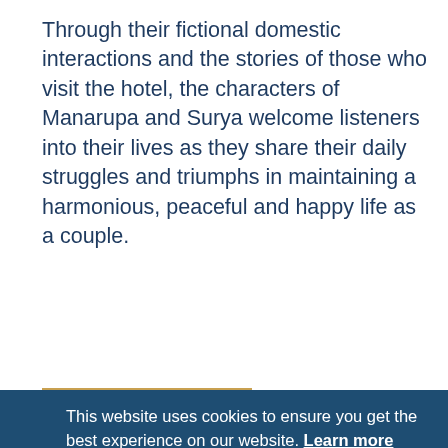Through their fictional domestic interactions and the stories of those who visit the hotel, the characters of Manarupa and Surya welcome listeners into their lives as they share their daily struggles and triumphs in maintaining a harmonious, peaceful and happy life as a couple.
[Figure (other): Cookie consent banner overlay with dark blue background, message text, 'Got it!' and 'Allow cookies' buttons (orange). Partially visible quote text behind/below the banner in dark blue background.]